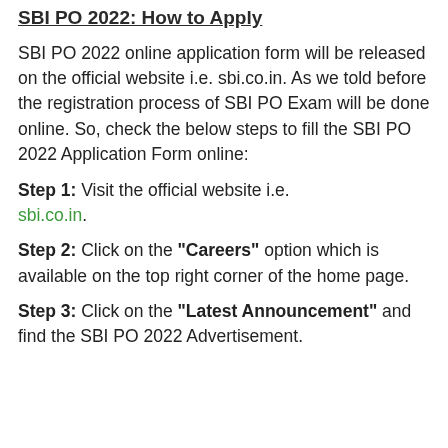SBI PO 2022: How to Apply
SBI PO 2022 online application form will be released on the official website i.e. sbi.co.in. As we told before the registration process of SBI PO Exam will be done online. So, check the below steps to fill the SBI PO 2022 Application Form online:
Step 1: Visit the official website i.e. sbi.co.in.
Step 2: Click on the “Careers” option which is available on the top right corner of the home page.
Step 3: Click on the “Latest Announcement” and find the SBI PO 2022 Advertisement.